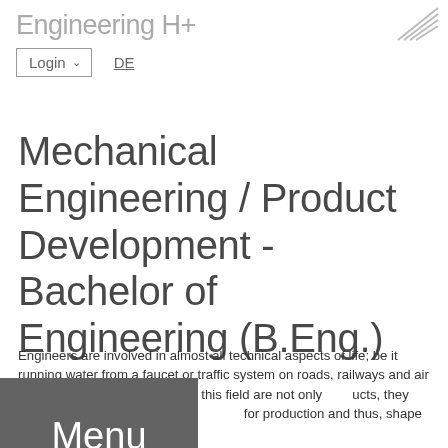Engineering H ...
[Figure (logo): Engineering school logo with diagonal lines]
Login ∨   DE
Mechanical Engineering / Product Development - Bachelor of Engineering (B.Eng.)
Engineers are involved in almost all technical aspects of life; be it running water from a faucet or traffic system on roads, railways and air or even satellites. Engineers in this field are not only [products], they also improve techniques and [methods] for production and thus, shape our planet
[Figure (screenshot): Menu overlay button in dark gray]
Develop innovative products!